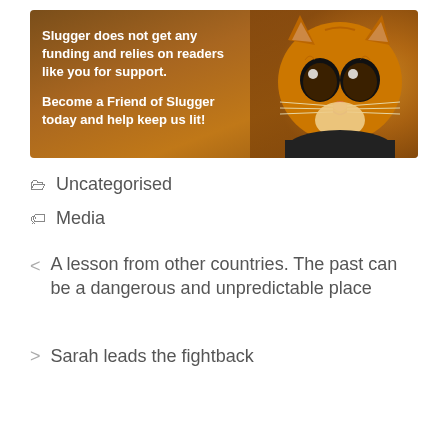[Figure (photo): Promotional banner with brown/orange background showing a cartoon cat with large eyes (Puss in Boots style) on the right side and bold white text on the left reading: 'Slugger does not get any funding and relies on readers like you for support. Become a Friend of Slugger today and help keep us lit!']
Uncategorised
Media
< A lesson from other countries. The past can be a dangerous and unpredictable place
> Sarah leads the fightback